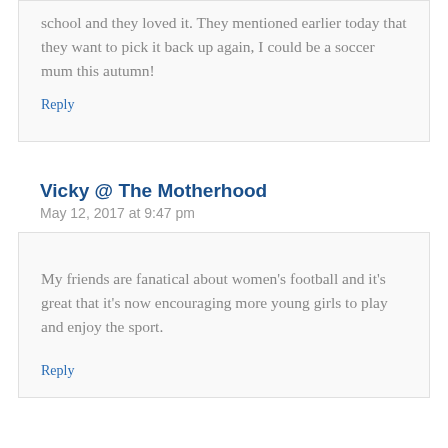school and they loved it. They mentioned earlier today that they want to pick it back up again, I could be a soccer mum this autumn!
Reply
Vicky @ The Motherhood
May 12, 2017 at 9:47 pm
My friends are fanatical about women's football and it's great that it's now encouraging more young girls to play and enjoy the sport.
Reply